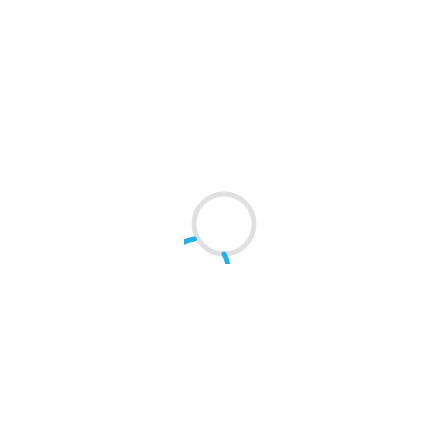[Figure (other): A loading spinner graphic — a circular ring with a blue arc segment indicating a loading/processing state, displayed centered on a white page with very faint watermarked background text that is largely invisible.]